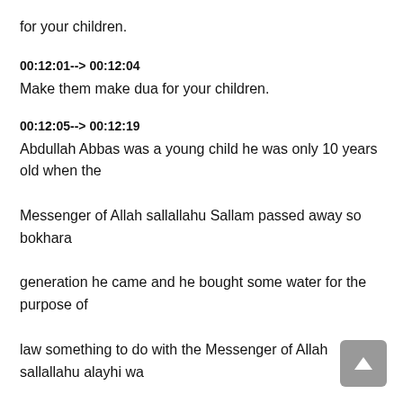for your children.
00:12:01--> 00:12:04
Make them make dua for your children.
00:12:05--> 00:12:19
Abdullah Abbas was a young child he was only 10 years old when the Messenger of Allah sallallahu Sallam passed away so bokhara generation he came and he bought some water for the purpose of law something to do with the Messenger of Allah sallallahu alayhi wa sallam said who bought this water?
00:12:21--> 00:12:32
They said abass A Bula nivas the province of Nova Scotia said Aloma fucking with de Alon give him a deep understanding of the DEA.